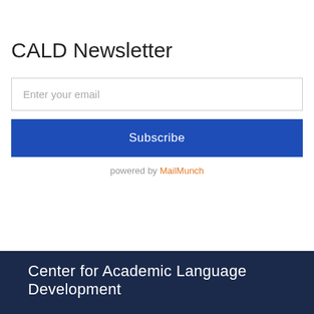CALD Newsletter
Enter your email
Subscribe
powered by MailMunch
Center for Academic Language Development